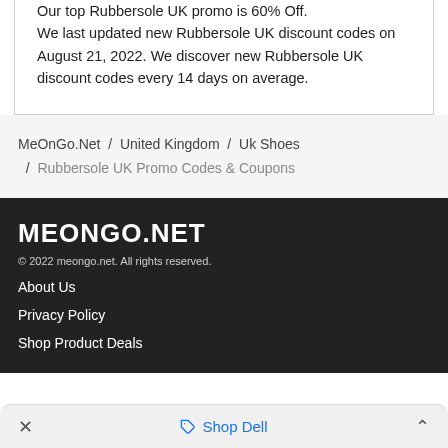Our top Rubbersole UK promo is 60% Off.

We last updated new Rubbersole UK discount codes on August 21, 2022. We discover new Rubbersole UK discount codes every 14 days on average.
MeOnGo.Net / United Kingdom / Uk Shoes / Rubbersole UK Promo Codes & Coupons
MEONGO.NET
© 2022 meongo.net. All rights reserved.
About Us
Privacy Policy
Shop Product Deals
× Shop Dell ∧